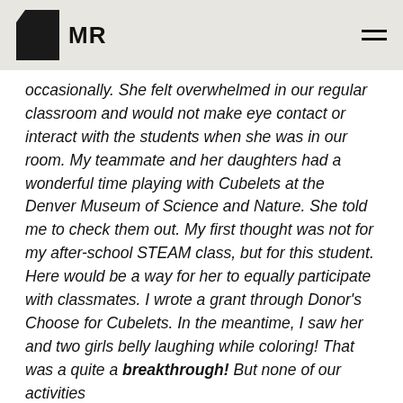MR
occasionally. She felt overwhelmed in our regular classroom and would not make eye contact or interact with the students when she was in our room. My teammate and her daughters had a wonderful time playing with Cubelets at the Denver Museum of Science and Nature. She told me to check them out. My first thought was not for my after-school STEAM class, but for this student. Here would be a way for her to equally participate with classmates. I wrote a grant through Donor's Choose for Cubelets. In the meantime, I saw her and two girls belly laughing while coloring! That was a quite a breakthrough! But none of our activities